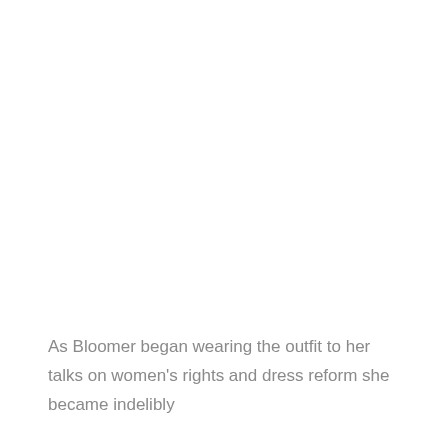As Bloomer began wearing the outfit to her talks on women's rights and dress reform she became indelibly